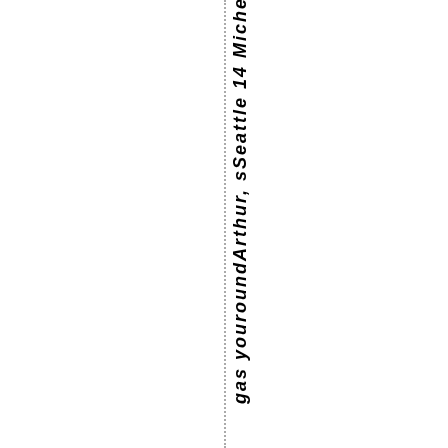gas youroundArthur, sSeattle 14 Michel